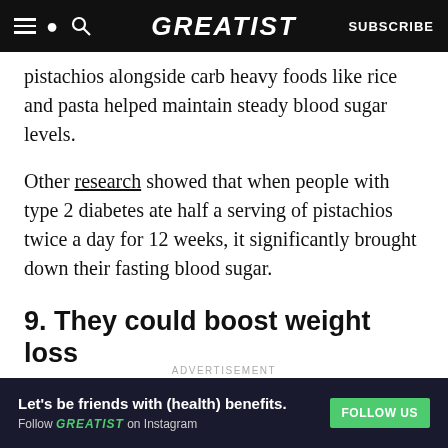GREATIST | SUBSCRIBE
pistachios alongside carb heavy foods like rice and pasta helped maintain steady blood sugar levels.
Other research showed that when people with type 2 diabetes ate half a serving of pistachios twice a day for 12 weeks, it significantly brought down their fasting blood sugar.
9. They could boost weight loss
It's no secret that nuts are high in calories, and that those calories primarily come from fat. But don't
ADVERTISEMENT
[Figure (infographic): Greatist Instagram follow advertisement banner with text 'Let's be friends with (health) benefits. Follow GREATIST on Instagram' and a green FOLLOW US button]